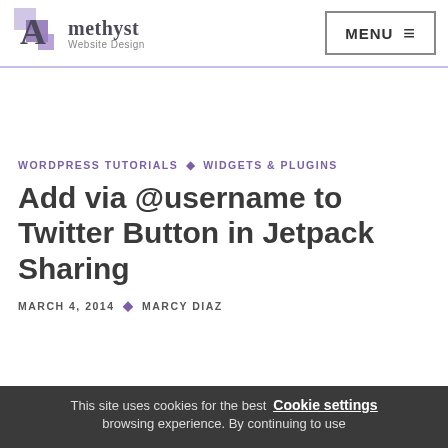Amethyst Website Design — MENU
WORDPRESS TUTORIALS ◆ WIDGETS & PLUGINS
Add via @username to Twitter Button in Jetpack Sharing
MARCH 4, 2014 ◆ MARCY DIAZ
This site uses cookies for the best browsing experience. By continuing to use
Cookie settings